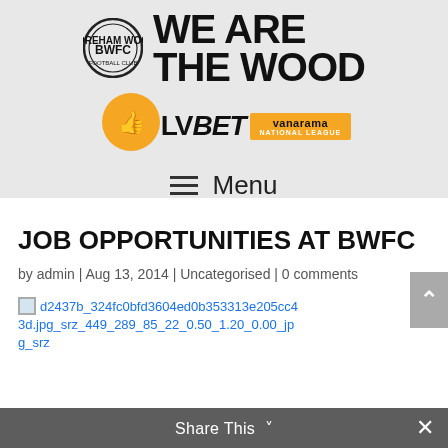[Figure (logo): Boreham Wood FC club logo circle with BWFC text and 'WE ARE THE WOOD' large bold text alongside. Below: LVBet and Vanarama National League sponsor logos.]
≡  Menu
JOB OPPORTUNITIES AT BWFC
by admin | Aug 13, 2014 | Uncategorised | 0 comments
d2437b_324fc0bfd3604ed0b353313e205cc43d.jpg_srz_449_289_85_22_0.50_1.20_0.00_jp g_srz
Share This